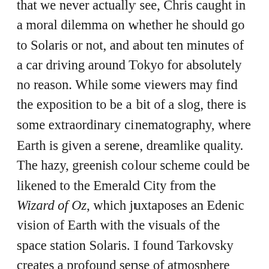that we never actually see, Chris caught in a moral dilemma on whether he should go to Solaris or not, and about ten minutes of a car driving around Tokyo for absolutely no reason. While some viewers may find the exposition to be a bit of a slog, there is some extraordinary cinematography, where Earth is given a serene, dreamlike quality. The hazy, greenish colour scheme could be likened to the Emerald City from the Wizard of Oz, which juxtaposes an Edenic vision of Earth with the visuals of the space station Solaris. I found Tarkovsky creates a profound sense of atmosphere despite there being next to nothing of a soundtrack in Solaris,